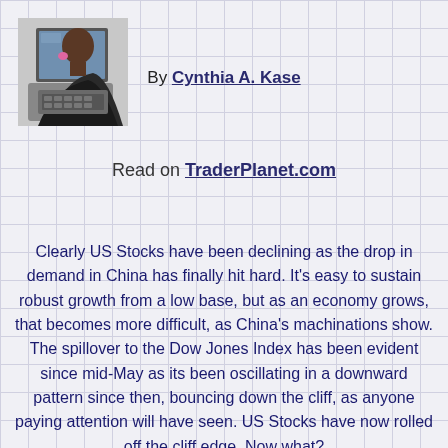[Figure (photo): Person leaning toward a laptop computer, viewed from the side, wearing a dark hoodie, with a pink object visible near their face.]
By Cynthia A. Kase
Read on TraderPlanet.com
Clearly US Stocks have been declining as the drop in demand in China has finally hit hard. It's easy to sustain robust growth from a low base, but as an economy grows, that becomes more difficult, as China's machinations show. The spillover to the Dow Jones Index has been evident since mid-May as its been oscillating in a downward pattern since then, bouncing down the cliff, as anyone paying attention will have seen. US Stocks have now rolled off the cliff edge. Now what?